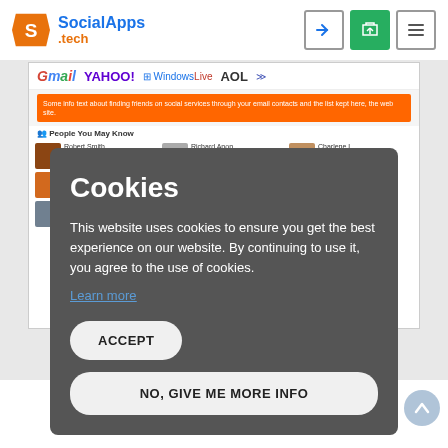SocialApps.tech
[Figure (screenshot): Screenshot of a social network website showing Gmail, Yahoo, Windows Live, AOL login options and a people grid with profile cards]
Cookies
This website uses cookies to ensure you get the best experience on our website. By continuing to use it, you agree to the use of cookies.
Learn more
ACCEPT
NO, GIVE ME MORE INFO